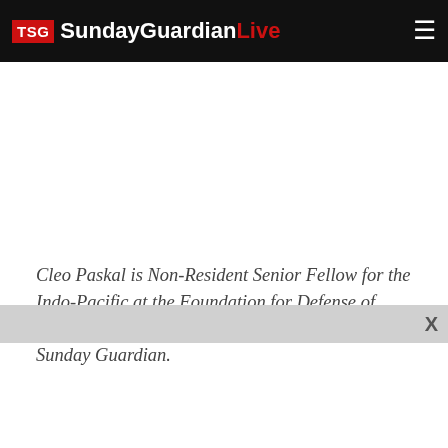TSG SundayGuardianLive
Cleo Paskal is Non-Resident Senior Fellow for the Indo-Pacific at the Foundation for Defense of Democracies and Special Correspondent for The Sunday Guardian.